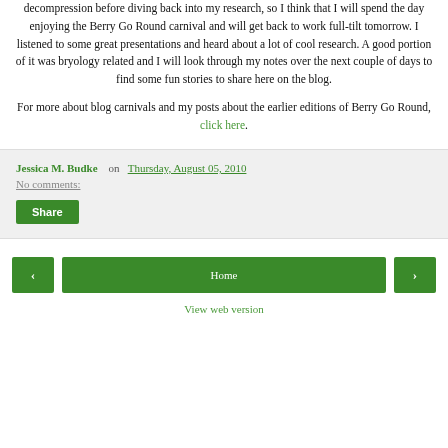decompression before diving back into my research, so I think that I will spend the day enjoying the Berry Go Round carnival and will get back to work full-tilt tomorrow. I listened to some great presentations and heard about a lot of cool research. A good portion of it was bryology related and I will look through my notes over the next couple of days to find some fun stories to share here on the blog.
For more about blog carnivals and my posts about the earlier editions of Berry Go Round, click here.
Jessica M. Budke on Thursday, August 05, 2010 No comments:
Share
< Home > View web version